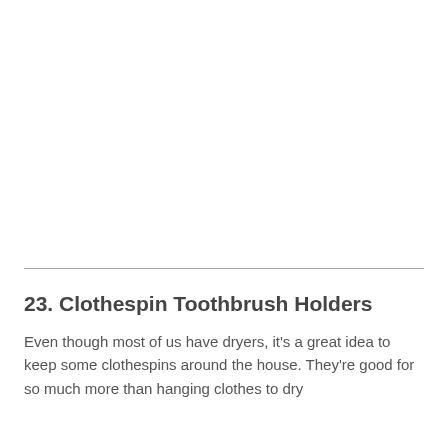23. Clothespin Toothbrush Holders
Even though most of us have dryers, it's a great idea to keep some clothespins around the house. They're good for so much more than hanging clothes to dry